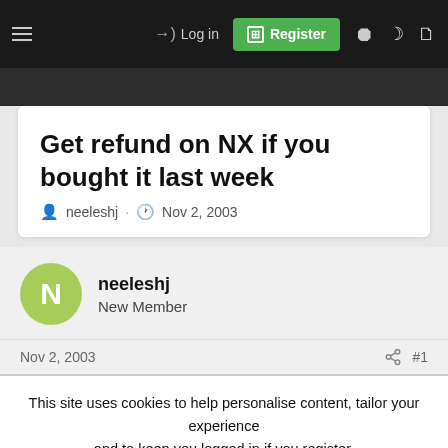Log in | Register
Get refund on NX if you bought it last week
neeleshj · Nov 2, 2003
neeleshj
New Member
Nov 2, 2003  #1
This site uses cookies to help personalise content, tailor your experience and to keep you logged in if you register.
By continuing to use this site, you are consenting to our use of cookies.